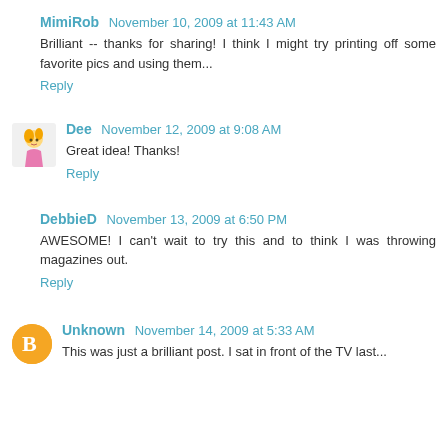MimiRob  November 10, 2009 at 11:43 AM
Brilliant -- thanks for sharing! I think I might try printing off some favorite pics and using them...
Reply
Dee  November 12, 2009 at 9:08 AM
Great idea! Thanks!
Reply
DebbieD  November 13, 2009 at 6:50 PM
AWESOME! I can't wait to try this and to think I was throwing magazines out.
Reply
Unknown  November 14, 2009 at 5:33 AM
This was just a brilliant post. I sat in front of the TV last...